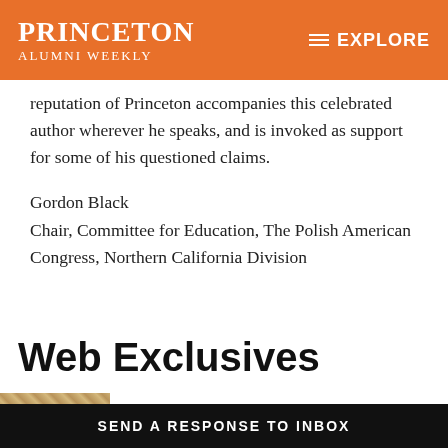PRINCETON ALUMNI WEEKLY   EXPLORE
reputation of Princeton accompanies this celebrated author wherever he speaks, and is invoked as support for some of his questioned claims.
Gordon Black
Chair, Committee for Education, The Polish American Congress, Northern California Division
Web Exclusives
[Figure (photo): Thumbnail photo of dogs/animals]
RESEARCH
SEND A RESPONSE TO INBOX